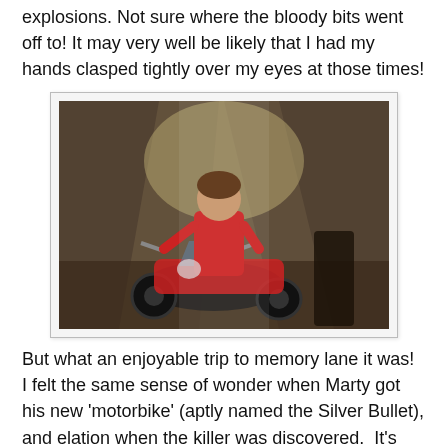explosions. Not sure where the bloody bits went off to! It may very well be likely that I had my hands clasped tightly over my eyes at those times!
[Figure (photo): A person in a red jacket sitting on or near a motorcycle inside what appears to be a barn or wooden structure, with dramatic lighting.]
But what an enjoyable trip to memory lane it was!  I felt the same sense of wonder when Marty got his new 'motorbike' (aptly named the Silver Bullet), and elation when the killer was discovered.  It's good old storytelling without the CGI.  Admittedly, I've never read the book from which this movie was based on, but when I hear the name 'Stephen King' it's this movie that always comes to mind.
If you like watching werewolf movies, this one is an easy